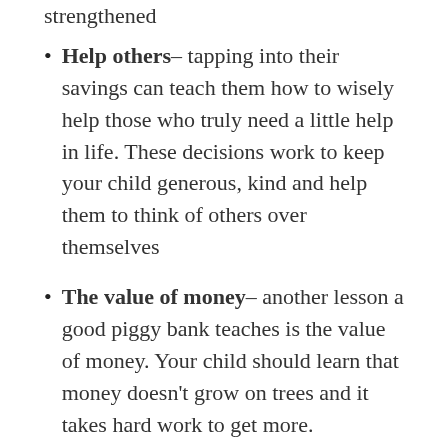strengthened
Help others– tapping into their savings can teach them how to wisely help those who truly need a little help in life. These decisions work to keep your child generous, kind and help them to think of others over themselves
The value of money– another lesson a good piggy bank teaches is the value of money. Your child should learn that money doesn't grow on trees and it takes hard work to get more.
A good piggy bank is a vital part of a healthy and happy childhood. Not only do they learn valuable lessons described above, but they also